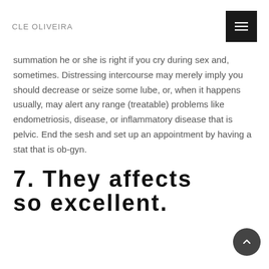CLE OLIVEIRA
summation he or she is right if you cry during sex and, sometimes. Distressing intercourse may merely imply you should decrease or seize some lube, or, when it happens usually, may alert any range (treatable) problems like endometriosis, disease, or inflammatory disease that is pelvic. End the sesh and set up an appointment by having a stat that is ob-gyn.
7. They affects so excellent.